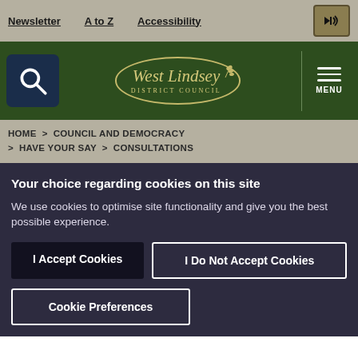Newsletter   A to Z   Accessibility
[Figure (logo): West Lindsey District Council logo with search icon and menu button on dark green header]
HOME > COUNCIL AND DEMOCRACY > HAVE YOUR SAY > CONSULTATIONS
Your choice regarding cookies on this site
We use cookies to optimise site functionality and give you the best possible experience.
I Accept Cookies | I Do Not Accept Cookies | Cookie Preferences